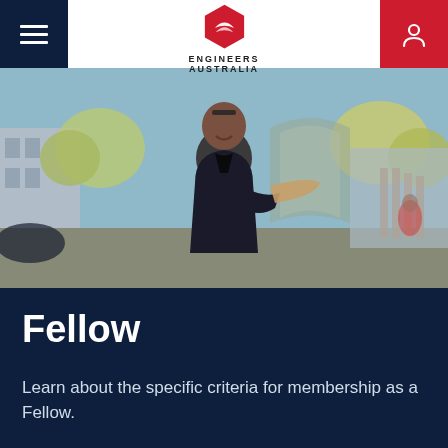Engineers Australia
[Figure (photo): A smiling man in a dark blazer holding a piece of wood/material, standing outdoors in an urban setting with trees and buildings in the background.]
Fellow
Learn about the specific criteria for membership as a Fellow.